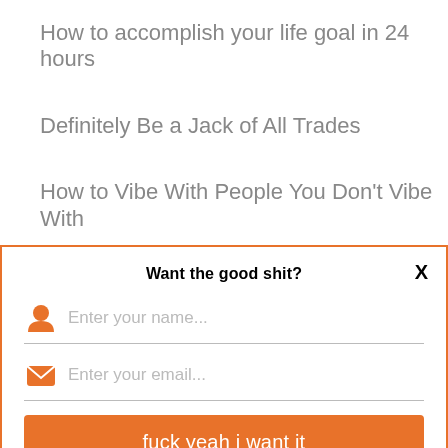How to accomplish your life goal in 24 hours
Definitely Be a Jack of All Trades
How to Vibe With People You Don't Vibe With
You're Not So Great At Anything, But That's
[Figure (screenshot): Modal popup with orange border. Title: 'Want the good shit?' with X close button. Two input fields (Enter your name..., Enter your email...) with orange person and envelope icons. Orange button labeled 'fuck yeah i want it'.]